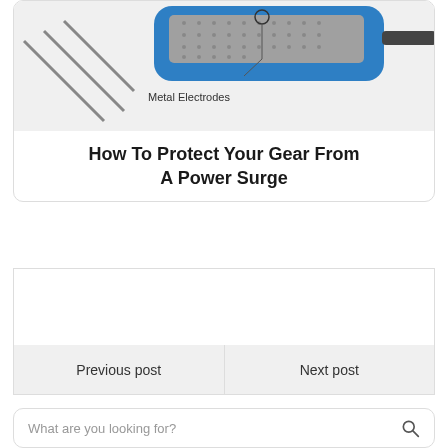[Figure (schematic): Diagram of a surge protector component showing metal electrodes labeled with 'Metal Electrodes', with blue housing and gray internal material depicted from a cross-section view, with diagonal lines in the background.]
How To Protect Your Gear From A Power Surge
[Figure (other): Empty white box placeholder area for content.]
Previous post
Next post
What are you looking for?